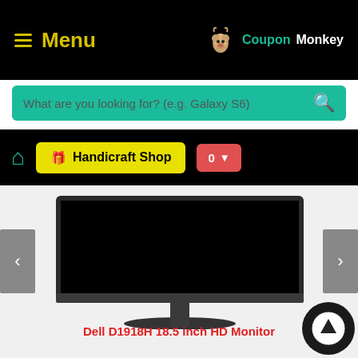Menu | CouponMonkey
What are you looking for? (e.g. Galaxy S6)
🏠 Handicraft Shop | 0
[Figure (screenshot): Product image of Dell D1918H 18.5 inch HD Monitor shown on white background with left/right navigation arrows]
Dell D1918H 18.5 inch HD Monitor